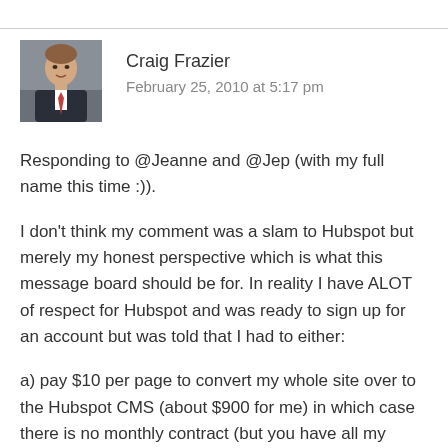[Figure (photo): Headshot photo of Craig Frazier, a man in a suit with a tie]
Craig Frazier
February 25, 2010 at 5:17 pm
Responding to @Jeanne and @Jep (with my full name this time :)).
I don't think my comment was a slam to Hubspot but merely my honest perspective which is what this message board should be for. In reality I have ALOT of respect for Hubspot and was ready to sign up for an account but was told that I had to either:
a) pay $10 per page to convert my whole site over to the Hubspot CMS (about $900 for me) in which case there is no monthly contract (but you have all my pages and I just paid $900) so I am still locked in.